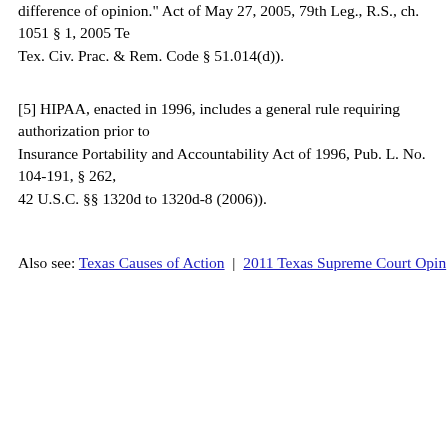difference of opinion." Act of May 27, 2005, 79th Leg., R.S., ch. 1051 § 1, 2005 Te Tex. Civ. Prac. & Rem. Code § 51.014(d)).
[5] HIPAA, enacted in 1996, includes a general rule requiring authorization prior to Insurance Portability and Accountability Act of 1996, Pub. L. No. 104-191, § 262, 42 U.S.C. §§ 1320d to 1320d-8 (2006)).
Also see: Texas Causes of Action | 2011 Texas Supreme Court Opin